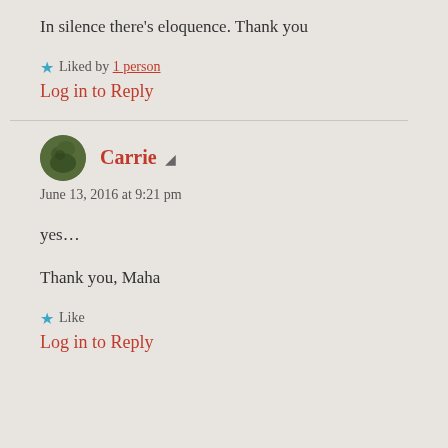In silence there’s eloquence. Thank you
★ Liked by 1 person
Log in to Reply
Carrie ▾ June 13, 2016 at 9:21 pm
yes...
Thank you, Maha
★ Like
Log in to Reply